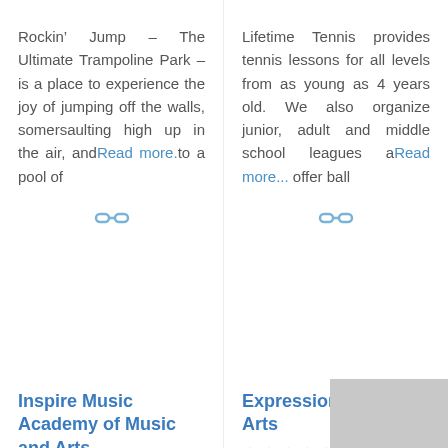Rockin’ Jump – The Ultimate Trampoline Park – is a place to experience the joy of jumping off the walls, somersaulting high up in the air, and Read more. to a pool of
Lifetime Tennis provides tennis lessons for all levels from as young as 4 years old. We also organize junior, adult and middle school leagues a Read more... offer ball
[Figure (other): Link/chain icon in blue-gray color]
[Figure (other): Link/chain icon in blue-gray color]
Inspire Music Academy of Music and Arts
Expressions Dance & Arts
No Reviews
No Reviews
Favorite
Favorite
Contact Name:: Sandra Maloney